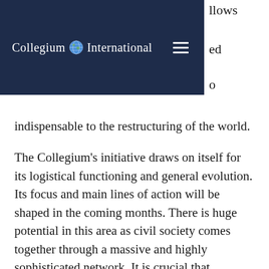Collegium International — navigation bar with logo and hamburger menu
indispensable to the restructuring of the world.
The Collegium's initiative draws on itself for its logistical functioning and general evolution. Its focus and main lines of action will be shaped in the coming months. There is huge potential in this area as civil society comes together through a massive and highly sophisticated network. It is crucial that economic, cultural and social rights be given the same weight as civil and political rights, and that they be properly implemented.